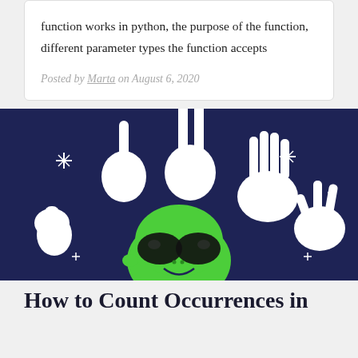function works in python, the purpose of the function, different parameter types the function accepts
Posted by Marta on August 6, 2020
[Figure (illustration): Dark blue background illustration with cartoon white hands showing finger counting gestures (1, 2, 3, 4, 5 fingers) and a green cartoon alien face with large dark eyes, with sparkle/star decorations scattered around]
How to Count Occurrences in